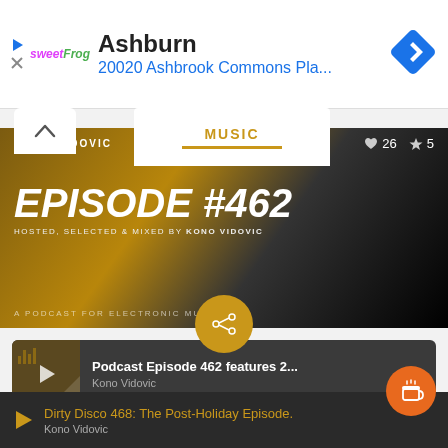[Figure (screenshot): Ad banner with sweetFrog logo, Ashburn city name, address 20020 Ashbrook Commons Pla..., navigation diamond icon, and play/close controls]
MUSIC
KONO VIDOVIC
26
5
EPISODE #462
HOSTED, SELECTED & MIXED BY KONO VIDOVIC
A PODCAST FOR ELECTRONIC MU...DIC
Podcast Episode 462 features 2...
Kono Vidovic
Dirty Disco 468: The Post-Holiday Episode.
Kono Vidovic